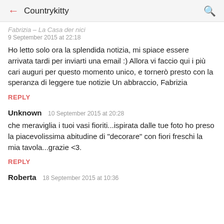Countrykitty
Fabrizia – La Casa der nici
9 September 2015 at 22:18
Ho letto solo ora la splendida notizia, mi spiace essere arrivata tardi per inviarti una email :) Allora vi faccio qui i più cari auguri per questo momento unico, e tornerò presto con la speranza di leggere tue notizie Un abbraccio, Fabrizia
REPLY
Unknown  10 September 2015 at 20:28
che meraviglia i tuoi vasi fioriti...ispirata dalle tue foto ho preso la piacevolissima abitudine di "decorare" con fiori freschi la mia tavola...grazie <3.
REPLY
Roberta  18 September 2015 at 10:36